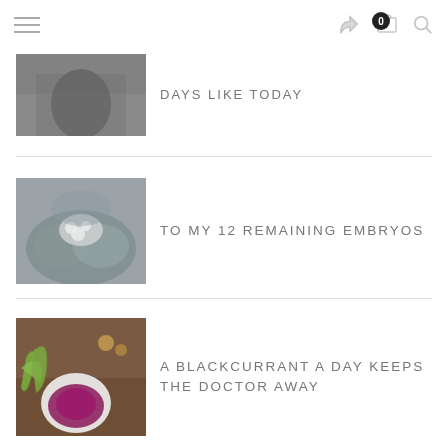Navigation header with hamburger menu, share, cart (0), search icons
DAYS LIKE TODAY
[Figure (photo): Person in dark clothing holding something, partial view cropped at top]
TO MY 12 REMAINING EMBRYOS
[Figure (photo): Hands cupping small white flowers or blossoms]
A BLACKCURRANT A DAY KEEPS THE DOCTOR AWAY
[Figure (photo): Bowl of dark purple blackcurrant powder with green herbs on wooden surface]